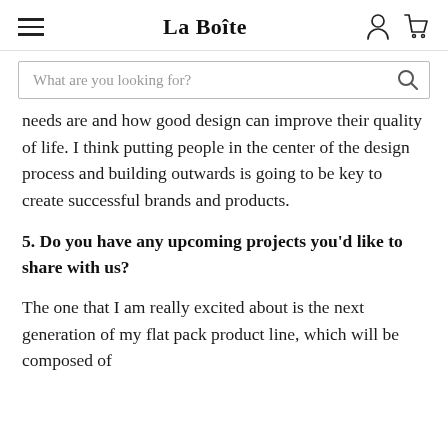La Boîte
needs are and how good design can improve their quality of life. I think putting people in the center of the design process and building outwards is going to be key to create successful brands and products.
5. Do you have any upcoming projects you'd like to share with us?
The one that I am really excited about is the next generation of my flat pack product line, which will be composed of